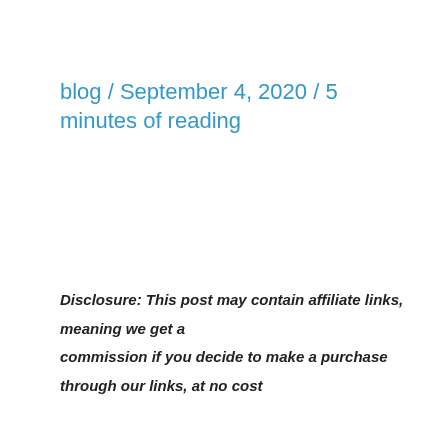blog / September 4, 2020 / 5 minutes of reading
Disclosure: This post may contain affiliate links, meaning we get a commission if you decide to make a purchase through our links, at no cost